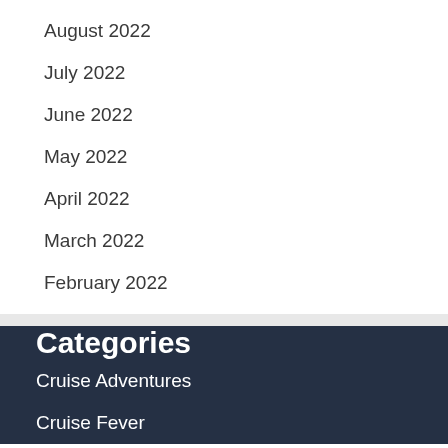August 2022
July 2022
June 2022
May 2022
April 2022
March 2022
February 2022
Categories
Cruise Adventures
Cruise Fever